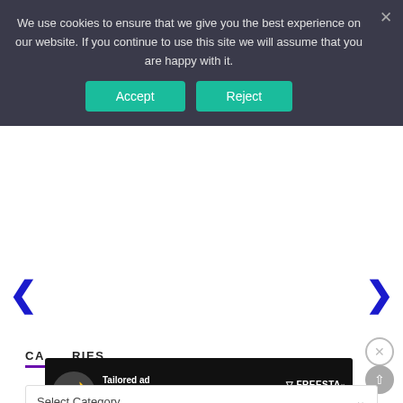We use cookies to ensure that we give you the best experience on our website. If you continue to use this site we will assume that you are happy with it.
Accept
Reject
[Figure (screenshot): Carousel navigation area with left and right blue chevron arrows on white background]
[Figure (screenshot): Close circle button (X) in gray outline circle]
CATEGORIES
[Figure (screenshot): Advertisement banner: moon icon, text 'Tailored ad management solutions for every publisher', Freestar logo, Learn More button]
[Figure (screenshot): Scroll-up button, gray circle with up arrow]
Select Category